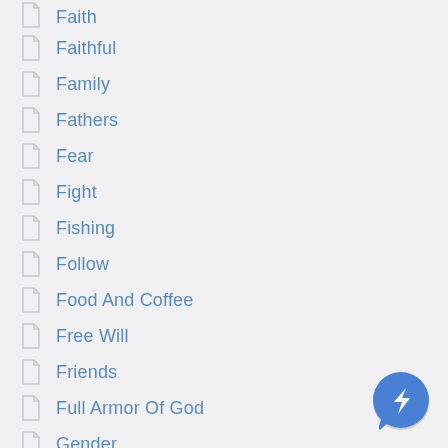Faith
Faithful
Family
Fathers
Fear
Fight
Fishing
Follow
Food And Coffee
Free Will
Friends
Full Armor Of God
Gender
Genesis
Gifts
[Figure (logo): Blue circular chat bubble button with a white lightning bolt / messenger icon]